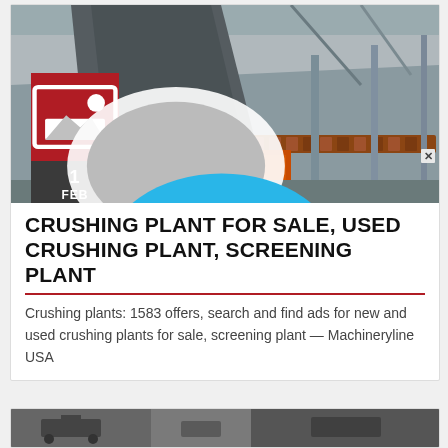[Figure (photo): Industrial crushing/screening plant interior showing conveyor belts, metal framework, and rollers inside a large warehouse structure]
CRUSHING PLANT FOR SALE, USED CRUSHING PLANT, SCREENING PLANT
Crushing plants: 1583 offers, search and find ads for new and used crushing plants for sale, screening plant — Machineryline USA
[Figure (photo): Partial view of another machinery listing photo at the bottom of the page]